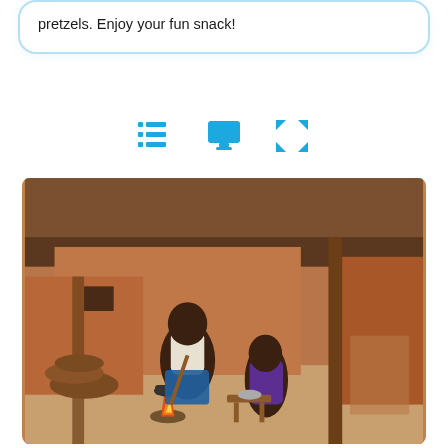pretzels. Enjoy your fun snack!
[Figure (infographic): Three blue icons in a row: a list/bullet icon, a desktop monitor icon, and a four-arrow expand icon]
[Figure (photo): A woman and a young girl cooking over an open fire outside a mud-brick building with a thatched roof. The woman sits on a stool and uses a long stick to stir a pot on the fire. The child stands nearby leaning over a small table with a metal bowl. Firewood and logs are stacked to the left.]